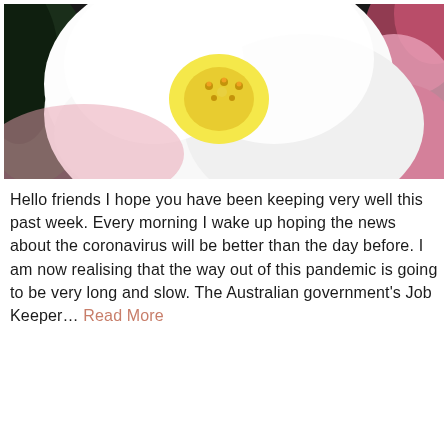[Figure (photo): Close-up photograph of a white camellia flower with yellow stamens and pink-tipped petals against dark green leaves]
Hello friends I hope you have been keeping very well this past week.  Every morning I wake up hoping the news about the coronavirus will be better than the day before.  I am now realising that the way out of this pandemic is going to be very long and slow. The Australian government's Job Keeper… Read More